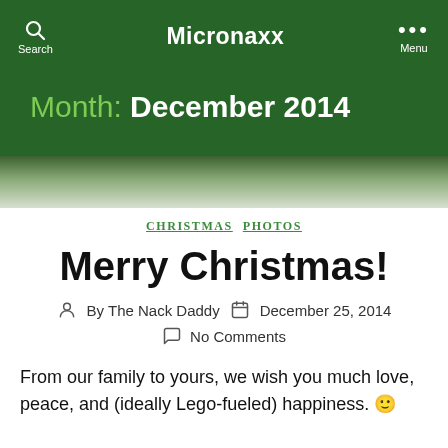Micronaxx
Month: December 2014
CHRISTMAS  PHOTOS
Merry Christmas!
By The Nack Daddy   December 25, 2014
No Comments
From our family to yours, we wish you much love, peace, and (ideally Lego-fueled) happiness. 🙂